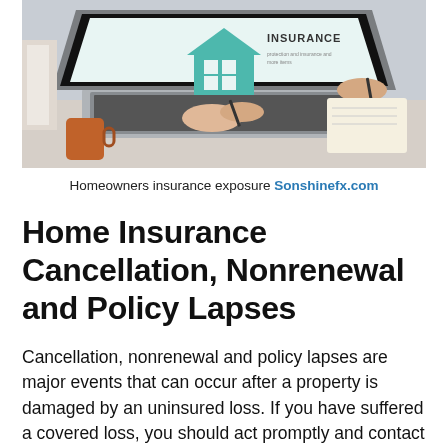[Figure (photo): Person typing on a laptop displaying a home insurance graphic with a house icon and the word INSURANCE, while another person writes in a notebook in the background. An orange coffee cup is visible in the foreground.]
Homeowners insurance exposure Sonshinefx.com
Home Insurance Cancellation, Nonrenewal and Policy Lapses
Cancellation, nonrenewal and policy lapses are major events that can occur after a property is damaged by an uninsured loss. If you have suffered a covered loss, you should act promptly and contact your insurance